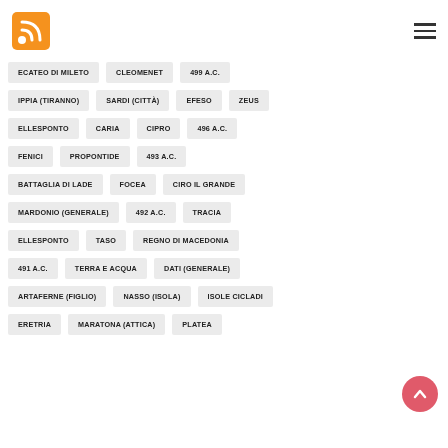[Figure (logo): RSS feed orange logo icon in top left]
[Figure (other): Hamburger menu icon (three horizontal lines) in top right]
ECATEO DI MILETO
CLEOMENET
499 A.C.
IPPIA (TIRANNO)
SARDI (CITTÀ)
EFESO
ZEUS
ELLESPONTO
CARIA
CIPRO
496 A.C.
FENICI
PROPONTIDE
493 A.C.
BATTAGLIA DI LADE
FOCEA
CIRO IL GRANDE
MARDONIO (GENERALE)
492 A.C.
TRACIA
ELLESPONTO
TASO
REGNO DI MACEDONIA
491 A.C.
TERRA E ACQUA
DATI (GENERALE)
ARTAFERNE (FIGLIO)
NASSO (ISOLA)
ISOLE CICLADI
ERETRIA
MARATONA (ATTICA)
PLATEA